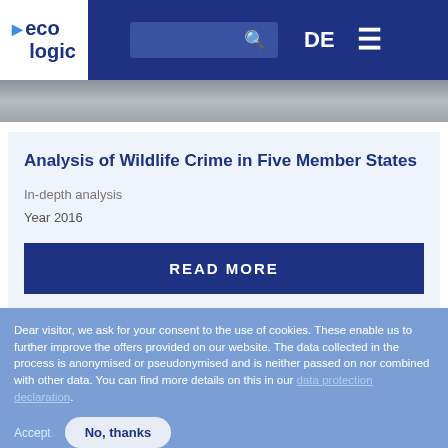eco logic | DE | search | menu
Analysis of Wildlife Crime in Five Member States
In-depth analysis
Year 2016
READ MORE
Dear visitor, we ask for your consent to the use of cookies. These enable us to further improve the offers provided on our website. The data collected in the process is anonymised or pseudonymised and is neither passed on nor combined with other data. You can find more details on this in our data protection declaration.
Accept
No, thanks